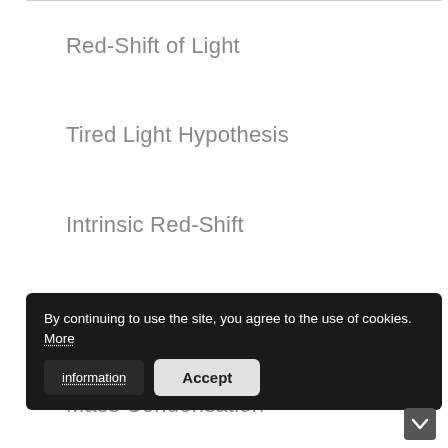Red-Shift of Light
Tired Light Hypothesis
Intrinsic Red-Shift
Deuterium Blue-Shift
Mass Condensation
Darwin's Law
Impossible Dinosaurs
The Que…th…
…
By continuing to use the site, you agree to the use of cookies. More information  Accept